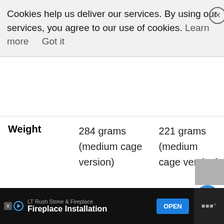Shifting  8 speeds  11 speeds  system
[Figure (screenshot): Cookie consent banner overlay reading: Cookies help us deliver our services. By using our services, you agree to our use of cookies. Learn more  Got it — with a close (X) button]
|  | 8 speeds | 11 speeds |
| --- | --- | --- |
| Weight | 284 grams (medium cage version) | 221 grams (medium cage version) |
[Figure (other): Blue circular heart/favorite button with count 10, and white circular share button]
[Figure (other): Gray image placeholder thumbnail]
[Figure (other): Advertisement bar at bottom: LT Rush Stone & Fireplace - Fireplace Installation - OPEN button]